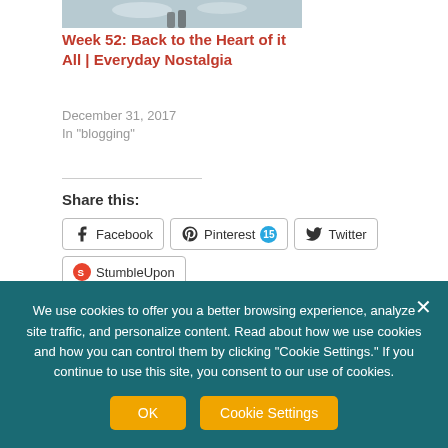[Figure (photo): Partial thumbnail image of a snowy scene with boots, cropped at top]
Week 52: Back to the Heart of it All | Everyday Nostalgia
December 31, 2017
In "blogging"
Share this:
Facebook  Pinterest 15  Twitter  StumbleUpon  More
We use cookies to offer you a better browsing experience, analyze site traffic, and personalize content. Read about how we use cookies and how you can control them by clicking "Cookie Settings." If you continue to use this site, you consent to our use of cookies.

OK   Cookie Settings